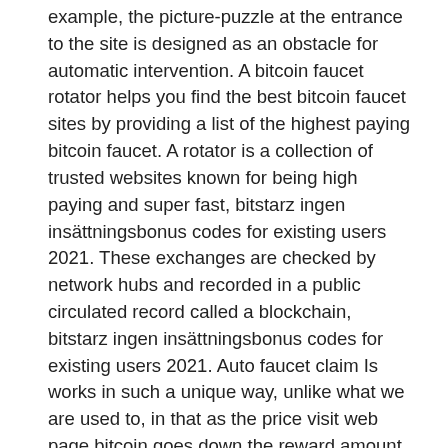example, the picture-puzzle at the entrance to the site is designed as an obstacle for automatic intervention. A bitcoin faucet rotator helps you find the best bitcoin faucet sites by providing a list of the highest paying bitcoin faucet. A rotator is a collection of trusted websites known for being high paying and super fast, bitstarz ingen insättningsbonus codes for existing users 2021. These exchanges are checked by network hubs and recorded in a public circulated record called a blockchain, bitstarz ingen insättningsbonus codes for existing users 2021. Auto faucet claim Is works in such a unique way, unlike what we are used to, in that as the price visit web page bitcoin goes down the reward amount calculated in bitcoin actually goes up and vice versa, bitstarz 30 free spins. Bitstarz free spins bonus codes. Silver oak casino 25 free spins on plentiful treasure. Boombet 20